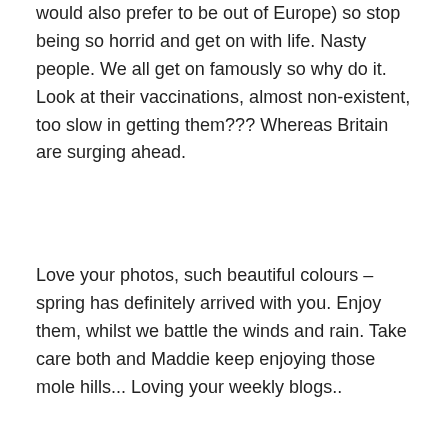would also prefer to be out of Europe) so stop being so horrid and get on with life. Nasty people. We all get on famously so why do it. Look at their vaccinations, almost non-existent, too slow in getting them??? Whereas Britain are surging ahead.
Love your photos, such beautiful colours – spring has definitely arrived with you. Enjoy them, whilst we battle the winds and rain. Take care both and Maddie keep enjoying those mole hills... Loving your weekly blogs..
★ Liked by 1 person
Reply
monterey4647
February 19, 2021 at 5:15 pm